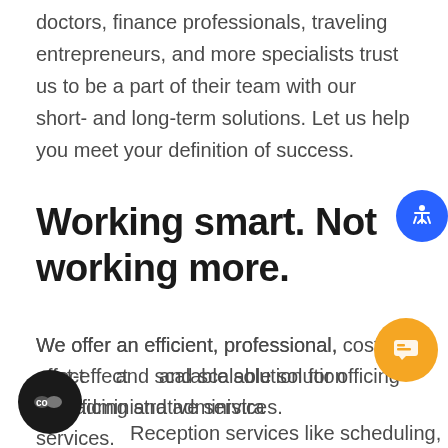doctors, finance professionals, traveling entrepreneurs, and more specialists trust us to be a part of their team with our short- and long-term solutions. Let us help you meet your definition of success.
Working smart. Not working more.
We offer an efficient, professional, cost-effective and scalable solution for officing and administrative services.
Reception services like scheduling, client intake,